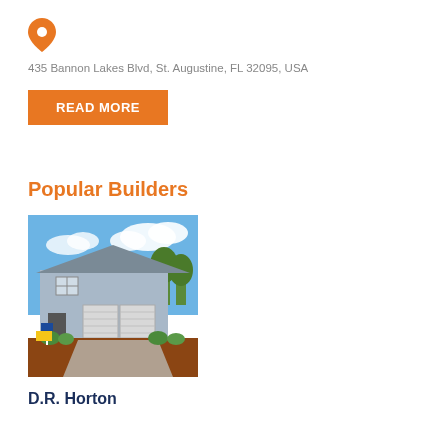[Figure (other): Orange map pin / location marker icon]
435 Bannon Lakes Blvd, St. Augustine, FL 32095, USA
READ MORE
Popular Builders
[Figure (photo): Exterior photo of a D.R. Horton model home — a light blue/grey two-story house with garage doors, blue sky with clouds in background, landscaping in foreground.]
D.R. Horton